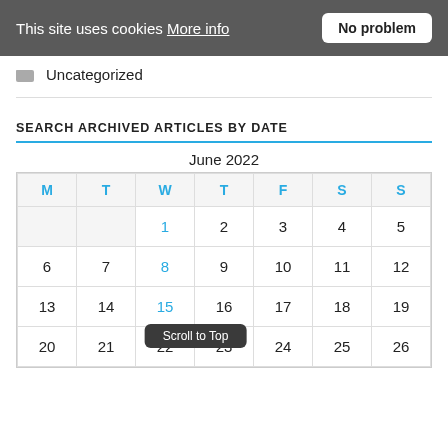This site uses cookies More info  No problem
Uncategorized
SEARCH ARCHIVED ARTICLES BY DATE
| M | T | W | T | F | S | S |
| --- | --- | --- | --- | --- | --- | --- |
|  |  | 1 | 2 | 3 | 4 | 5 |
| 6 | 7 | 8 | 9 | 10 | 11 | 12 |
| 13 | 14 | 15 | 16 | 17 | 18 | 19 |
| 20 | 21 | 22 | 23 | 24 | 25 | 26 |